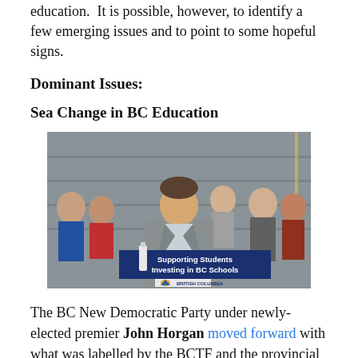education.  It is possible, however, to identify a few emerging issues and to point to some hopeful signs.
Dominant Issues:
Sea Change in BC Education
[Figure (photo): Man in suit speaking at a podium with a banner reading 'Supporting Students Investing in BC Schools' and the BC provincial logo, surrounded by children in what appears to be a school gymnasium.]
The BC New Democratic Party under newly-elected premier John Horgan moved forward with what was labelled by the BCTF and the provincial media as an "education correction." "We don't want chaos and